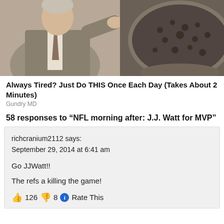[Figure (photo): Advertisement photo showing a man in a grey suit pointing at something, next to an image of dark granular substance in a bowl. Ad for Gundry MD health product.]
Always Tired? Just Do THIS Once Each Day (Takes About 2 Minutes)
Gundry MD
58 responses to “NFL morning after: J.J. Watt for MVP”
richcranium2112 says:
September 29, 2014 at 6:41 am
Go JJWatt!!
The refs a killing the game!
👍 126 👎 8 ℹ Rate This